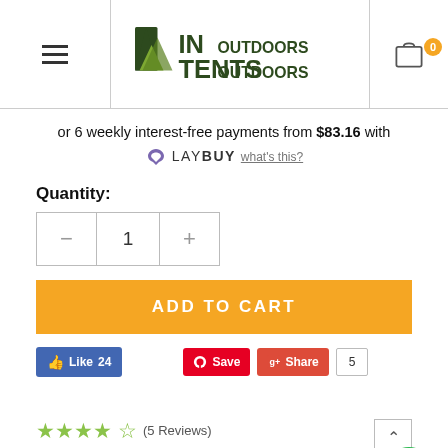[Figure (logo): InTents Outdoors logo with shopping cart icon showing 0 items and hamburger menu]
or 6 weekly interest-free payments from $83.16 with LAY BUY what's this?
Quantity:
1
ADD TO CART
Like 24   Save   Share   5
★★★★½ (5 Reviews)
DESCRIPTION
The Hannar 2 has been a very popular model since